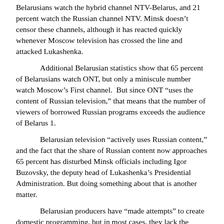Belarusians watch the hybrid channel NTV-Belarus, and 21 percent watch the Russian channel NTV. Minsk doesn't censor these channels, although it has reacted quickly whenever Moscow television has crossed the line and attacked Lukashenka.
Additional Belarusian statistics show that 65 percent of Belarusians watch ONT, but only a miniscule number watch Moscow's First channel.  But since ONT “uses the content of Russian television,” that means that the number of viewers of borrowed Russian programs exceeds the audience of Belarus 1.
Belarusian television “actively uses Russian content,” and the fact that the share of Russian content now approaches 65 percent has disturbed Minsk officials including Igor Buzovsky, the deputy head of Lukashenka’s Presidential Administration. But doing something about that is another matter.
Belarusian producers have “made attempts” to create domestic programming, but in most cases, they lack the resources to do more than put on New Year’s musicals and weekly socio-political talk shows. And even those cost so much that the Belarusian government is reluctant to fund them, especially if they